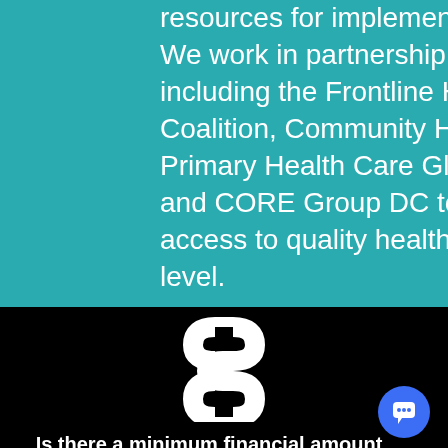resources for implementing community health. We work in partnership with other groups, including the Frontline Health Workers Coalition, Community Health Impact Coalition, Primary Health Care Global Strategy Group, and CORE Group DC to champion increased access to quality health care beyond the facility level.
[Figure (illustration): White dollar sign icon on black background]
Is there a minimum financial amount to pledge in order to join the campaign?